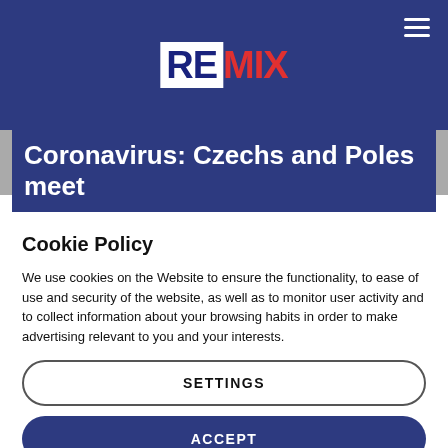REMIX
Coronavirus: Czechs and Poles meet
Cookie Policy
We use cookies on the Website to ensure the functionality, to ease of use and security of the website, as well as to monitor user activity and to collect information about your browsing habits in order to make advertising relevant to you and your interests.
Clicking on "Accept" you can allow all cookies. If you would like to reject or customize, please click on "Settings".
Read more: Cookie Policy
SETTINGS
ACCEPT